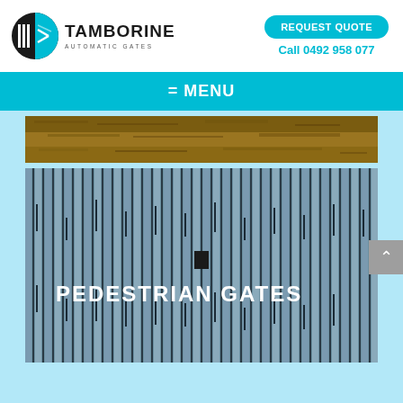[Figure (logo): Tamborine Automatic Gates logo: circular icon with gate graphic in black and blue, with company name TAMBORINE AUTOMATIC GATES below]
REQUEST QUOTE
Call 0492 958 077
= MENU
[Figure (photo): Horizontal strip showing dirt/soil ground texture]
[Figure (photo): Close-up photo of vertical metal slat fencing/gate in blue-grey color with text overlay PEDESTRIAN GATES]
PEDESTRIAN GATES